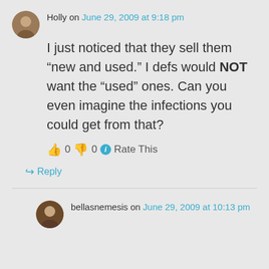Holly on June 29, 2009 at 9:18 pm
I just noticed that they sell them “new and used.” I defs would NOT want the “used” ones. Can you even imagine the infections you could get from that?
👍 0 👎 0 ⓘ Rate This
↪ Reply
bellasnemesis on June 29, 2009 at 10:13 pm